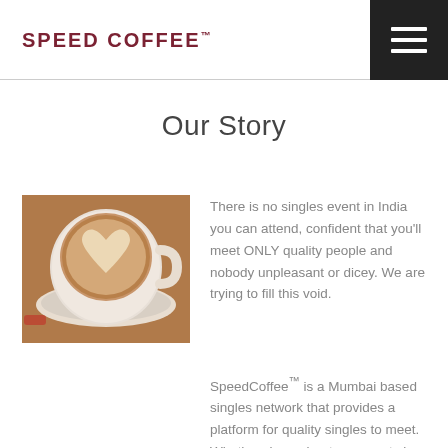SPEED COFFEE™
Our Story
[Figure (photo): A latte coffee cup with heart-shaped latte art on a saucer, photographed from above on a wooden surface.]
There is no singles event in India you can attend, confident that you'll meet ONLY quality people and nobody unpleasant or dicey. We are trying to fill this void.
SpeedCoffee™ is a Mumbai based singles network that provides a platform for quality singles to meet. What's unique about our events is that every participant goes through a